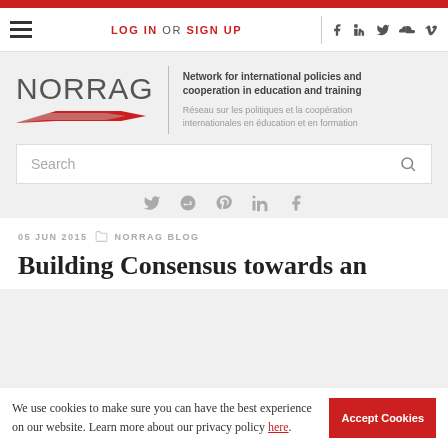NORRAG — Network for international policies and cooperation in education and training
[Figure (logo): NORRAG logo with red arrow graphic and bilingual tagline]
Search
Social sharing icons: twitter, reddit, pinterest, linkedin, facebook
05 JUN 2015   NORRAG BLOG
Building Consensus towards an
We use cookies to make sure you can have the best experience on our website. Learn more about our privacy policy here.
Accept Cookies